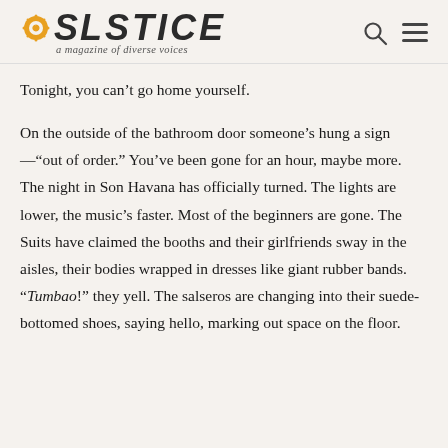SOLSTICE — a magazine of diverse voices
Tonight, you can't go home yourself.
On the outside of the bathroom door someone's hung a sign—“out of order.” You've been gone for an hour, maybe more. The night in Son Havana has officially turned. The lights are lower, the music's faster. Most of the beginners are gone. The Suits have claimed the booths and their girlfriends sway in the aisles, their bodies wrapped in dresses like giant rubber bands. “Tumbao!” they yell. The salseros are changing into their suede-bottomed shoes, saying hello, marking out space on the floor.